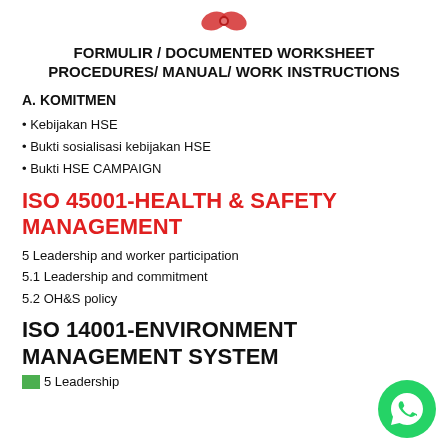[Figure (logo): Red bow/ribbon logo at the top center]
FORMULIR / DOCUMENTED WORKSHEET PROCEDURES/ MANUAL/ WORK INSTRUCTIONS
A. KOMITMEN
• Kebijakan HSE
• Bukti sosialisasi kebijakan HSE
• Bukti HSE CAMPAIGN
ISO 45001-HEALTH & SAFETY MANAGEMENT
5 Leadership and worker participation
5.1 Leadership and commitment
5.2 OH&S policy
ISO 14001-ENVIRONMENT MANAGEMENT SYSTEM
5 Leadership
[Figure (logo): WhatsApp green circle button icon, bottom right]